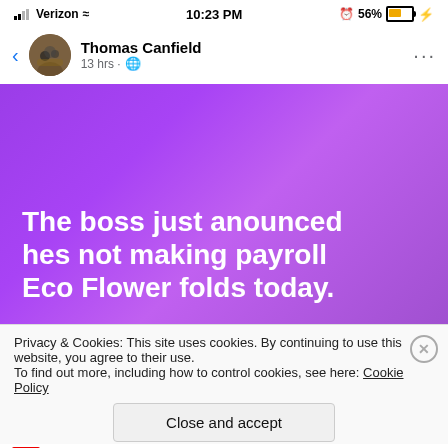[Figure (screenshot): Mobile phone status bar showing Verizon signal, 10:23 PM time, alarm icon, 56% battery]
[Figure (screenshot): Facebook post header: back arrow, avatar of Thomas Canfield, username, 13 hrs ago with globe icon, three-dot menu]
[Figure (screenshot): Purple gradient image with bold white text reading: The boss just anounced hes not making payroll Eco Flower folds today.]
Privacy & Cookies: This site uses cookies. By continuing to use this website, you agree to their use.
To find out more, including how to control cookies, see here: Cookie Policy
Close and accept